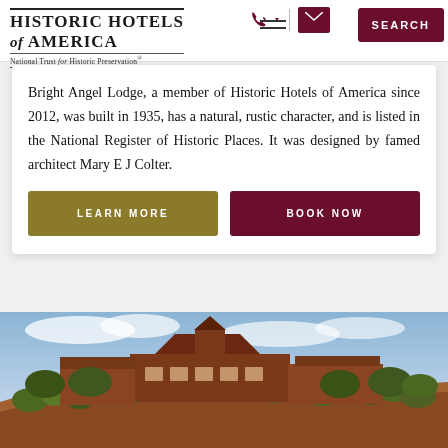Historic Hotels of America — National Trust for Historic Preservation
Bright Angel Lodge, a member of Historic Hotels of America since 2012, was built in 1935, has a natural, rustic character, and is listed in the National Register of Historic Places. It was designed by famed architect Mary E J Colter.
LEARN MORE
BOOK NOW
[Figure (photo): Exterior photo of Bright Angel Lodge at Grand Canyon, a large rustic red-roofed building surrounded by desert scrub and trees under a partly cloudy sky.]